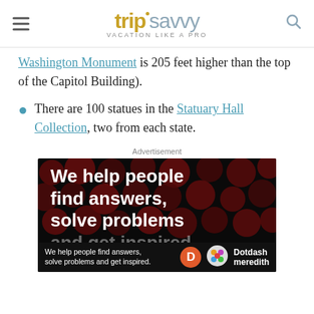tripsavvy — VACATION LIKE A PRO
Washington Monument is 205 feet higher than the top of the Capitol Building).
There are 100 statues in the Statuary Hall Collection, two from each state.
Advertisement
[Figure (other): Advertisement banner: dark background with dark red polka dots pattern, bold white text reading 'We help people find answers, solve problems and get inspired.' with Dotdash Meredith branding at bottom.]